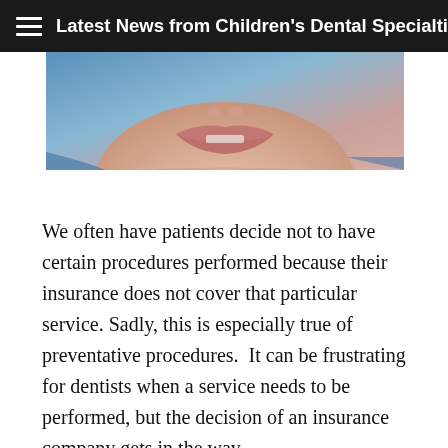Latest News from Children's Dental Specialties
[Figure (photo): Close-up photo of a child's face showing mouth/lips area against a blue background]
We often have patients decide not to have certain procedures performed because their insurance does not cover that particular service. Sadly, this is especially true of preventative procedures.  It can be frustrating for dentists when a service needs to be performed, but the decision of an insurance company gets in the way.